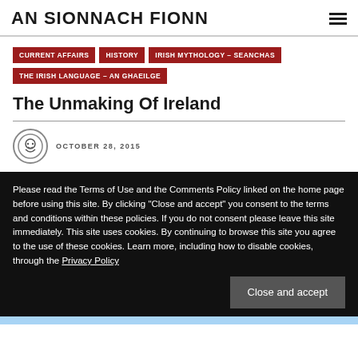AN SIONNACH FIONN
CURRENT AFFAIRS
HISTORY
IRISH MYTHOLOGY – SEANCHAS
THE IRISH LANGUAGE – AN GHAEILGE
The Unmaking Of Ireland
OCTOBER 28, 2015
Please read the Terms of Use and the Comments Policy linked on the home page before using this site. By clicking "Close and accept" you consent to the terms and conditions within these policies. If you do not consent please leave this site immediately. This site uses cookies. By continuing to browse this site you agree to the use of these cookies. Learn more, including how to disable cookies, through the Privacy Policy